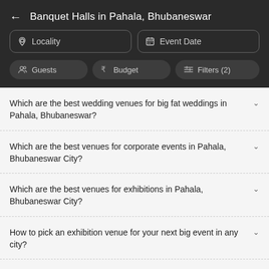Banquet Halls in Pahala, Bhubaneswar
Locality
Event Date
Guests
Budget
Filters (2)
Which are the best wedding venues for big fat weddings in Pahala, Bhubaneswar?
Which are the best venues for corporate events in Pahala, Bhubaneswar City?
Which are the best venues for exhibitions in Pahala, Bhubaneswar City?
How to pick an exhibition venue for your next big event in any city?
What are the banquet halls in Pahala, Bhubaneswar City are...